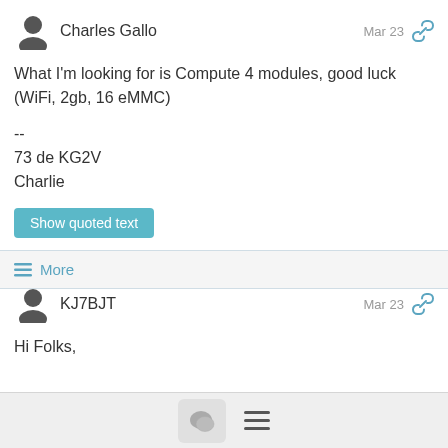Charles Gallo — Mar 23
What I'm looking for is Compute 4 modules, good luck (WiFi, 2gb, 16 eMMC)
--
73 de KG2V
Charlie
Show quoted text
More
KJ7BJT — Mar 23
Hi Folks,